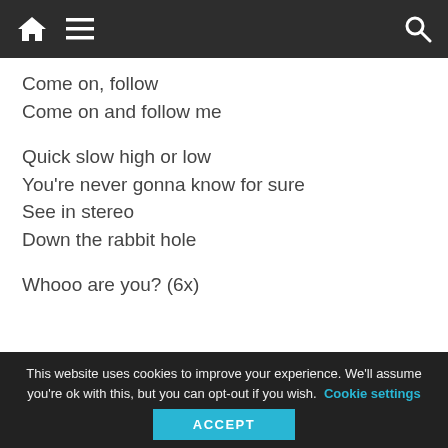Navigation bar with home, menu, and search icons
Come on, follow
Come on and follow me

Quick slow high or low
You're never gonna know for sure
See in stereo
Down the rabbit hole

Whooo are you? (6x)
[Figure (screenshot): YouTube video thumbnail showing Adam Lambert - Down The Rab... with avatar and three-dot menu]
This website uses cookies to improve your experience. We'll assume you're ok with this, but you can opt-out if you wish. Cookie settings ACCEPT